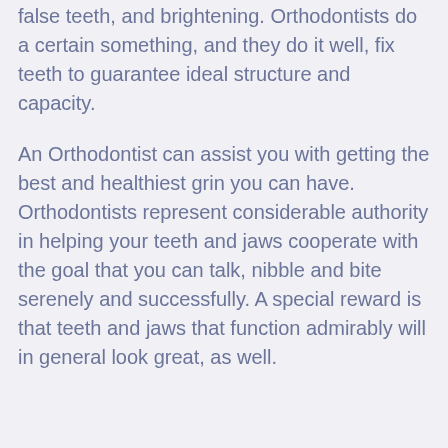false teeth, and brightening. Orthodontists do a certain something, and they do it well, fix teeth to guarantee ideal structure and capacity.
An Orthodontist can assist you with getting the best and healthiest grin you can have. Orthodontists represent considerable authority in helping your teeth and jaws cooperate with the goal that you can talk, nibble and bite serenely and successfully. A special reward is that teeth and jaws that function admirably will in general look great, as well.